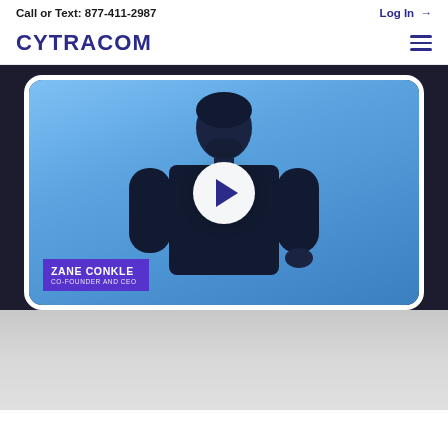Call or Text: 877-411-2987
Log In →
[Figure (logo): CYTRACOM logo in dark navy/purple bold uppercase text]
[Figure (photo): Video thumbnail showing a man (Zane Conkle, Co-Founder and CEO) standing against a blue background with a white circular play button overlay. Name badge in purple at bottom left reads ZANE CONKLE / CO-FOUNDER AND CEO.]